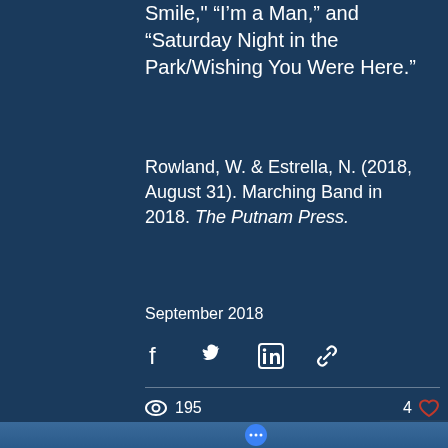Smile," "I'm a Man," and "Saturday Night in the Park/Wishing You Were Here."
Rowland, W. & Estrella, N. (2018, August 31). Marching Band in 2018. The Putnam Press.
September 2018
[Figure (infographic): Social sharing icons: Facebook, Twitter, LinkedIn, and link/chain icon]
195 views · 4 likes
Recent Posts
See All
[Figure (photo): Photo strip at bottom showing smiling people at an outdoor event, with a blue circular button with three dots]